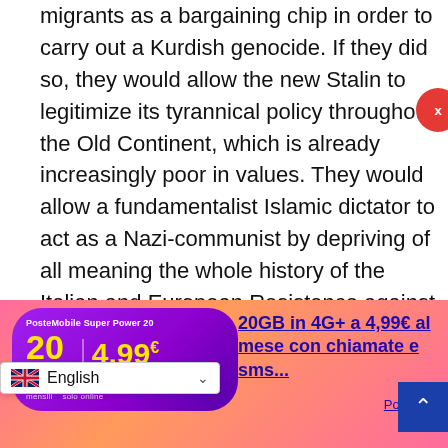migrants as a bargaining chip in order to carry out a Kurdish genocide. If they did so, they would allow the new Stalin to legitimize its tyrannical policy throughout the Old Continent, which is already increasingly poor in values. They would allow a fundamentalist Islamic dictator to act as a Nazi-communist by depriving of all meaning the whole history of the Italian and European Resistance against the SS of the Third Reich.
Fabio Giuseppe Carlo Carisio
COPYRIGHT GOSPA NEWS
reproduction without authorization
[Figure (screenshot): Advertisement for PosteMobile Super Power 20 plan: 20 GIGA in 4G+ at 4.99 euro al mese, displayed as purple badge on pink/orange gradient background]
20GB in 4G+ a 4,99€ al mese con chiamate e sms...
Postepay
[Figure (screenshot): Language selector showing English with UK flag]